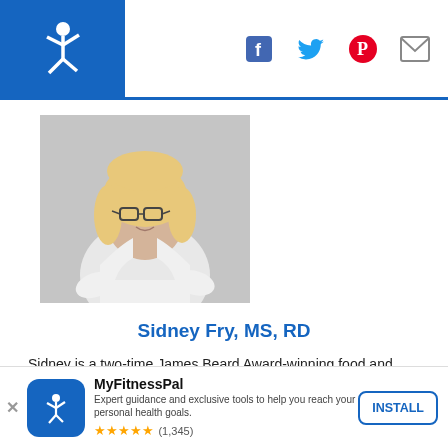MyFitnessPal — header with logo and social icons (Facebook, Twitter, Pinterest, Mail)
[Figure (photo): Professional headshot of Sidney Fry, a blonde woman wearing glasses and a white shirt, smiling, photographed against a light grey background.]
Sidney Fry, MS, RD
Sidney is a two-time James Beard Award-winning food and nutrition writer, editor and mom based out of Birmingham, Alabama. A registered dietitian with a passion for food and being proactive about health, she loves to teach and create simple, tasty meals
You're taking control of your
MyFitnessPal — Expert guidance and exclusive tools to help you reach your personal health goals. ★★★★★ (1,345) INSTALL